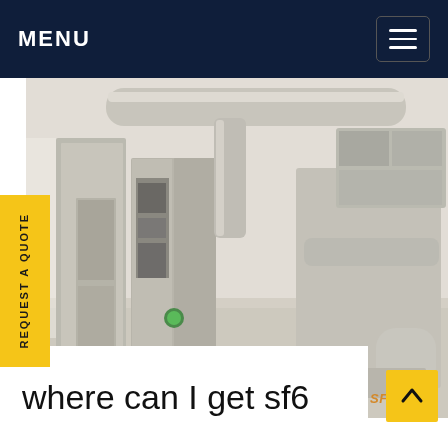MENU
[Figure (photo): Industrial electrical switchgear / SF6 gas-insulated equipment inside a substation room. Grey metal cabinets, large pipes, and high-voltage components are visible. Watermark reads 'SF6China' in orange italic text at lower right.]
REQUEST A QUOTE
where can I get sf6